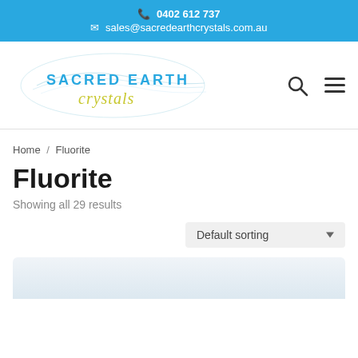📞 0402 612 737 ✉ sales@sacredearthcrystals.com.au
[Figure (logo): Sacred Earth Crystals logo — stylized text with feather/wave design in teal and olive/yellow-green colors]
Home / Fluorite
Fluorite
Showing all 29 results
Default sorting